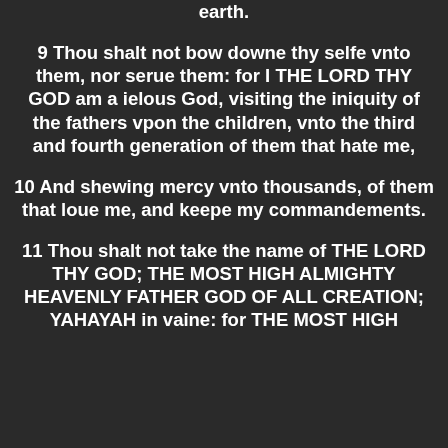earth.
9 Thou shalt not bow downe thy selfe vnto them, nor serue them: for I THE LORD THY GOD am a ielous God, visiting the iniquity of the fathers vpon the children, vnto the third and fourth generation of them that hate me,
10 And shewing mercy vnto thousands, of them that loue me, and keepe my commandements.
11 Thou shalt not take the name of THE LORD THY GOD; THE MOST HIGH ALMIGHTY HEAVENLY FATHER GOD OF ALL CREATION; YAHAYAH in vaine: for THE MOST HIGH